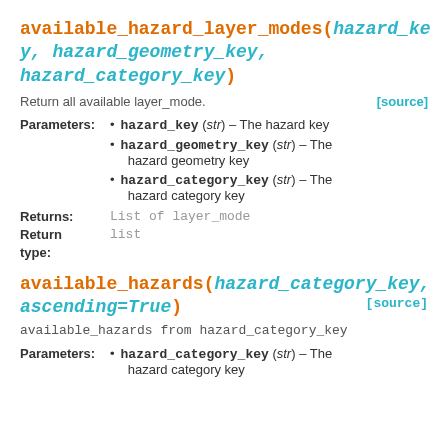available_hazard_layer_modes(hazard_key, hazard_geometry_key, hazard_category_key)
Return all available layer_mode.
hazard_key (str) – The hazard key
hazard_geometry_key (str) – The hazard geometry key
hazard_category_key (str) – The hazard category key
Returns: List of layer_mode
Return type: list
available_hazards(hazard_category_key, ascending=True)
available_hazards from hazard_category_key
hazard_category_key (str) – The hazard category key